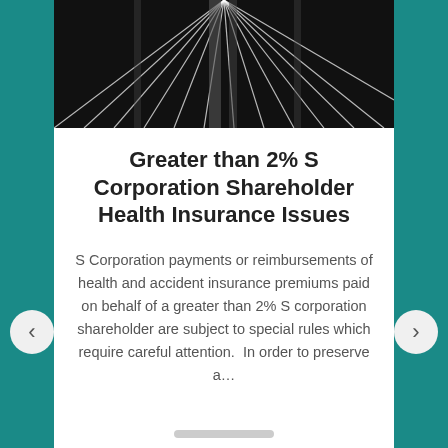[Figure (photo): Black and white photo of abstract structural lines/cables, likely a bridge or architectural detail, viewed from below at an angle.]
Greater than 2% S Corporation Shareholder Health Insurance Issues
S Corporation payments or reimbursements of health and accident insurance premiums paid on behalf of a greater than 2% S corporation shareholder are subject to special rules which require careful attention.  In order to preserve a…